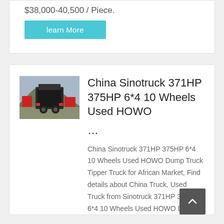$38,000-40,500 / Piece.
learn More
China Sinotruck 371HP 375HP 6*4 10 Wheels Used HOWO
...
China Sinotruck 371HP 375HP 6*4 10 Wheels Used HOWO Dump Truck Tipper Truck for African Market, Find details about China Truck, Used Truck from Sinotruck 371HP 375HP 6*4 10 Wheels Used HOWO Dump